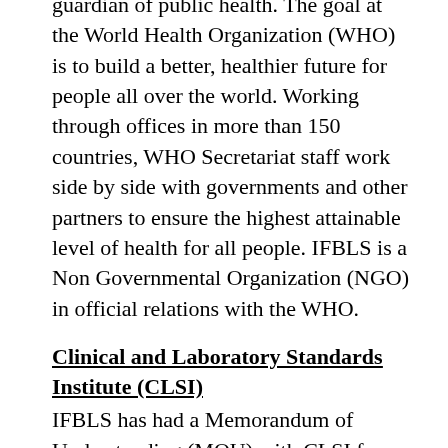guardian of public health. The goal at the World Health Organization (WHO) is to build a better, healthier future for people all over the world. Working through offices in more than 150 countries, WHO Secretariat staff work side by side with governments and other partners to ensure the highest attainable level of health for all people. IFBLS is a Non Governmental Organization (NGO) in official relations with the WHO.
Clinical and Laboratory Standards Institute (CLSI)
IFBLS has had a Memorandum of Understanding (MOU) with CLSI for many years. This agreement is used to build collaborative endeavours based on mutual interests. The main goal is to use each other`s strengths to further promote the development and dissemination of globally applicable consensus standards and guidelines to further education of Biomedical Science and healthcare professionals.
European Association for Professions in Biomedical Science (EPBS)